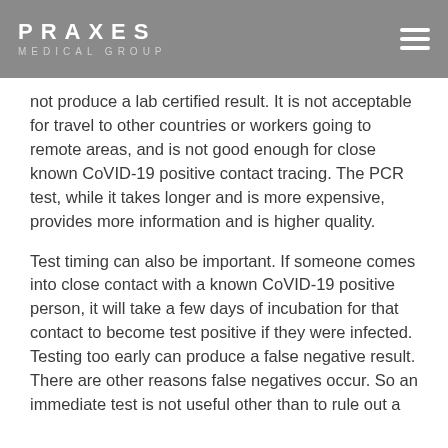PRAXES MEDICAL GROUP
not produce a lab certified result. It is not acceptable for travel to other countries or workers going to remote areas, and is not good enough for close known CoVID-19 positive contact tracing. The PCR test, while it takes longer and is more expensive, provides more information and is higher quality.
Test timing can also be important. If someone comes into close contact with a known CoVID-19 positive person, it will take a few days of incubation for that contact to become test positive if they were infected. Testing too early can produce a false negative result. There are other reasons false negatives occur. So an immediate test is not useful other than to rule out a